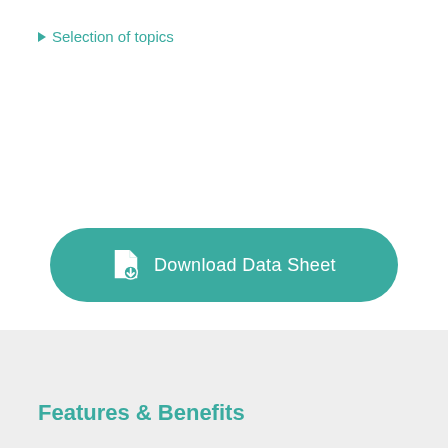▶ Selection of topics
[Figure (other): Download Data Sheet button — teal rounded rectangle with document download icon and white text]
Features & Benefits